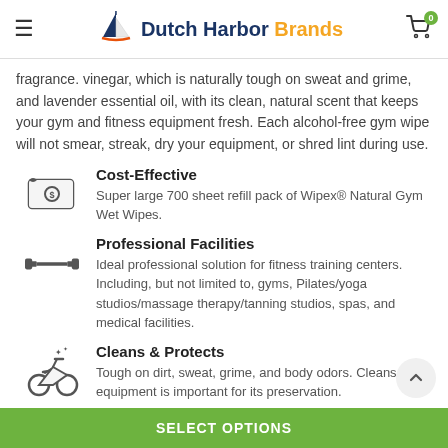Dutch Harbor Brands
fragrance. vinegar, which is naturally tough on sweat and grime, and lavender essential oil, with its clean, natural scent that keeps your gym and fitness equipment fresh. Each alcohol-free gym wipe will not smear, streak, dry your equipment, or shred lint during use.
Cost-Effective — Super large 700 sheet refill pack of Wipex® Natural Gym Wet Wipes.
Professional Facilities — Ideal professional solution for fitness training centers. Including, but not limited to, gyms, Pilates/yoga studios/massage therapy/tanning studios, spas, and medical facilities.
Cleans & Protects — Tough on dirt, sweat, grime, and body odors. Cleans your equipment is important for its preservation.